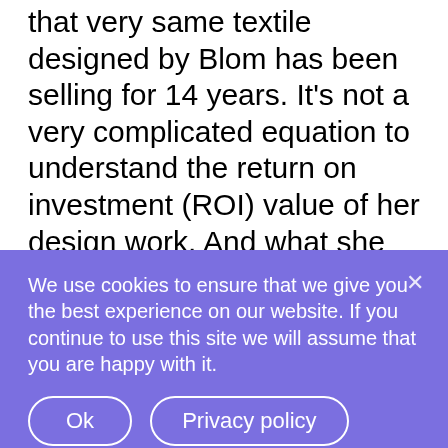that very same textile designed by Blom has been selling for 14 years. It's not a very complicated equation to understand the return on investment (ROI) value of her design work. And what she could have earned with a proper royalty contract.
“But what if you had demanded more salary plus royalty? Maybe they would have just chosen another design student to do the work?” She asked. Rooijer. Strategist. But
We use cookies to ensure that we give you the best experience on our website. If you continue to use this site we will assume that you are happy with it.
Ok
Privacy policy